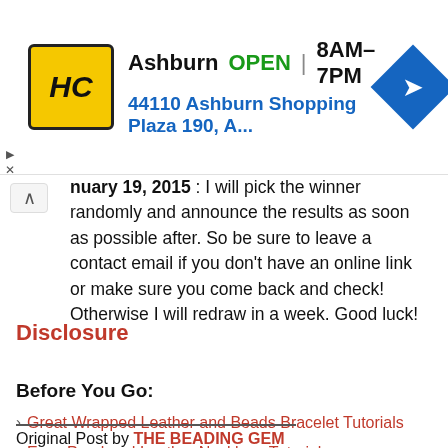[Figure (other): Advertisement banner for HC (Home Comfort or similar) in Ashburn. Shows logo with HC letters on yellow background, business name Ashburn, OPEN status, hours 8AM-7PM, address 44110 Ashburn Shopping Plaza 190, A... and a blue navigation diamond icon.]
nuary 19, 2015 : I will pick the winner randomly and announce the results as soon as possible after. So be sure to leave a contact email if you don't have an online link or make sure you come back and check! Otherwise I will redraw in a week. Good luck!
Disclosure
Before You Go:
Great Wrapped Leather and Beads Bracelet Tutorials
Easy Pearl and Leather Necklace Tutorial
Quick Leather Jewelry Tutorials to Try
Original Post by THE BEADING GEM